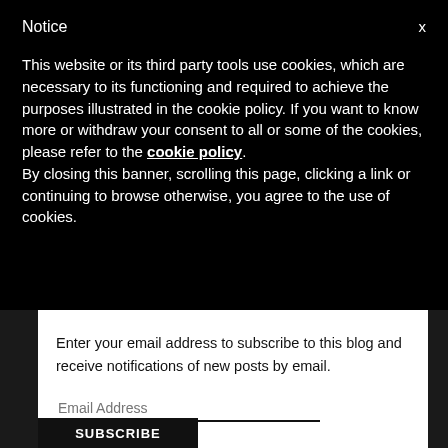Notice
This website or its third party tools use cookies, which are necessary to its functioning and required to achieve the purposes illustrated in the cookie policy. If you want to know more or withdraw your consent to all or some of the cookies, please refer to the cookie policy.
By closing this banner, scrolling this page, clicking a link or continuing to browse otherwise, you agree to the use of cookies.
Enter your email address to subscribe to this blog and receive notifications of new posts by email.
Email Address
SUBSCRIBE